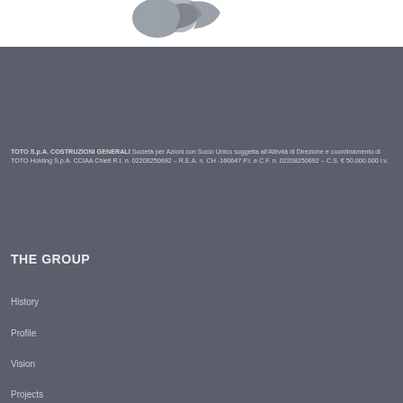[Figure (logo): TOTO company logo - partial view of grey geometric logo shape]
TOTO S.p.A. COSTRUZIONI GENERALI Società per Azioni con Socio Unico soggetta all'Attività di Direzione e coordinamento di TOTO Holding S.p.A. CCIAA Chieti R.I. n. 02208250692 – R.E.A. n. CH -160647 P.I. e C.F. n. 02208250692 – C.S. € 50.000.000 i.v.
THE GROUP
History
Profile
Vision
Projects